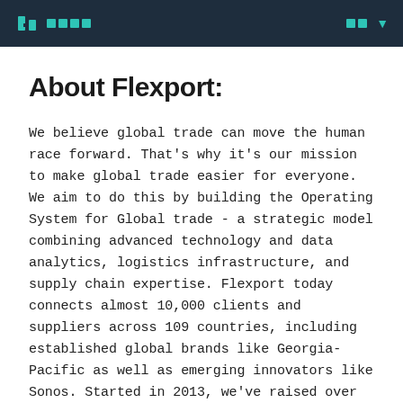□□□□  □□ ▾
About Flexport:
We believe global trade can move the human race forward. That's why it's our mission to make global trade easier for everyone. We aim to do this by building the Operating System for Global trade - a strategic model combining advanced technology and data analytics, logistics infrastructure, and supply chain expertise. Flexport today connects almost 10,000 clients and suppliers across 109 countries, including established global brands like Georgia-Pacific as well as emerging innovators like Sonos. Started in 2013, we've raised over $1.3B in funding from SoftBank Vision Fund, Founders Fund, GV, First Round Capital and Y Combinator. We're excited about the three big ways we're moving forward after our recent $1B investment